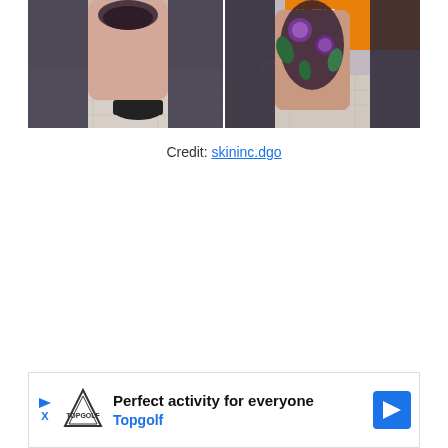[Figure (photo): Two side-by-side photos showing tattoos on a leg. Left photo shows a simpler tattoo before, right photo shows a colorful floral tattoo after. White watermark text visible reading 'skinclyey 2021'.]
Credit: skininc.dgo
[Figure (infographic): Advertisement banner for Topgolf. Shows Topgolf shield logo, text 'Perfect activity for everyone', 'Topgolf' in blue, blue play arrow icon, X close icon, and blue navigation arrow icon on right.]